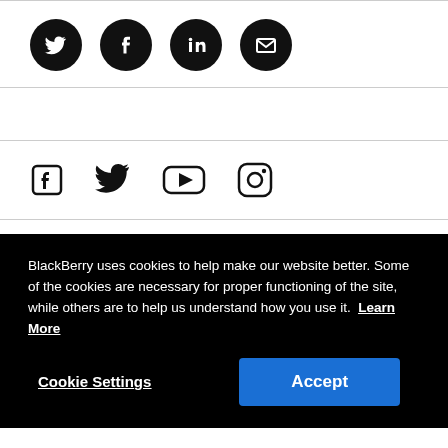[Figure (other): Row of four social media icons (Twitter, Facebook, LinkedIn, Email) as black circles with white icons]
[Figure (other): Row of four social media icons (Facebook, Twitter, YouTube, Instagram) as flat black icons]
BlackBerry uses cookies to help make our website better. Some of the cookies are necessary for proper functioning of the site, while others are to help us understand how you use it. Learn More
Cookie Settings | Accept